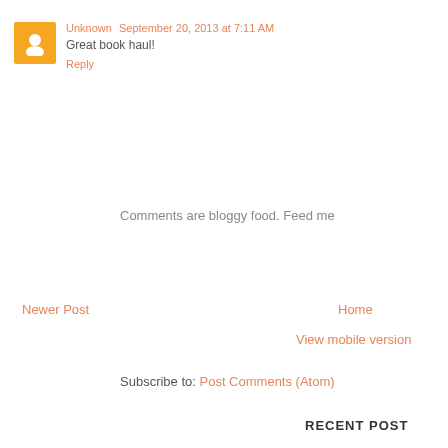Unknown  September 20, 2013 at 7:11 AM
Great book haul!
Reply
Comments are bloggy food. Feed me
Newer Post
Home
View mobile version
Subscribe to: Post Comments (Atom)
RECENT POST